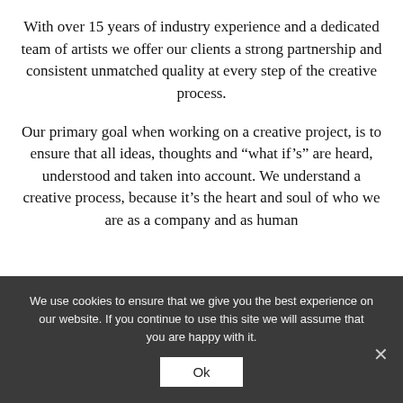With over 15 years of industry experience and a dedicated team of artists we offer our clients a strong partnership and consistent unmatched quality at every step of the creative process.
Our primary goal when working on a creative project, is to ensure that all ideas, thoughts and “what if’s” are heard, understood and taken into account. We understand a creative process, because it’s the heart and soul of who we are as a company and as human
We use cookies to ensure that we give you the best experience on our website. If you continue to use this site we will assume that you are happy with it.
Ok